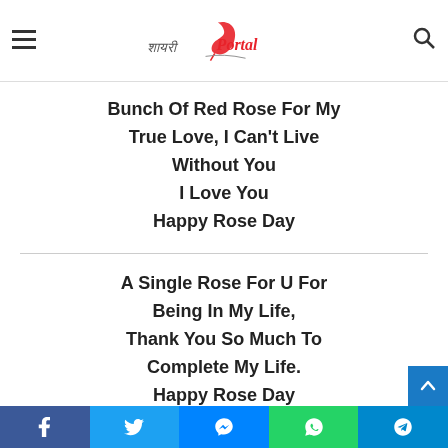Shayari Portal logo with hamburger menu and search icon
Bunch Of Red Rose For My True Love, I Can't Live Without You
I Love You
Happy Rose Day
A Single Rose For U For Being In My Life, Thank You So Much To Complete My Life.
Happy Rose Day
Facebook Twitter Messenger WhatsApp Telegram